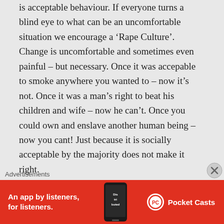is acceptable behaviour. If everyone turns a blind eye to what can be an uncomfortable situation we encourage a ‘Rape Culture’. Change is uncomfortable and sometimes even painful – but necessary. Once it was accepable to smoke anywhere you wanted to – now it’s not. Once it was a man’s right to beat his children and wife – now he can’t. Once you could own and enslave another human being – now you cant! Just because it is socially acceptable by the majority does not make it right.
★ Like
Advertisements
[Figure (infographic): Red advertisement banner for Pocket Casts: 'An app by listeners, for listeners.' with a phone image showing 'Distributed' and the Pocket Casts logo.]